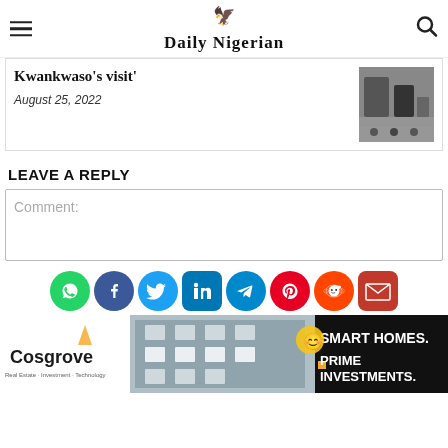Daily Nigerian
Kwankwaso’s visit’
August 25, 2022
LEAVE A REPLY
Comment:
[Figure (infographic): Row of social media sharing icons: WhatsApp, Facebook, Twitter, LinkedIn, Telegram, Pinterest, Reddit, Email]
[Figure (infographic): Cosgrove Real Estate advertisement banner showing apartment building photo with text: SMART HOMES. PRIME INVESTMENTS.]